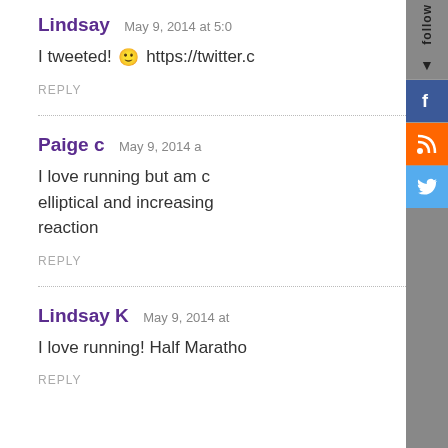Lindsay  May 9, 2014 at 5:0...
I tweeted! 🙂 https://twitter.c...
REPLY
Paige c  May 9, 2014 a...
I love running but am c... elliptical and increasing... reaction
REPLY
Lindsay K  May 9, 2014 at...
I love running! Half Maratho...
REPLY
[Figure (screenshot): Social media follow sidebar with Facebook, RSS, and Twitter icons]